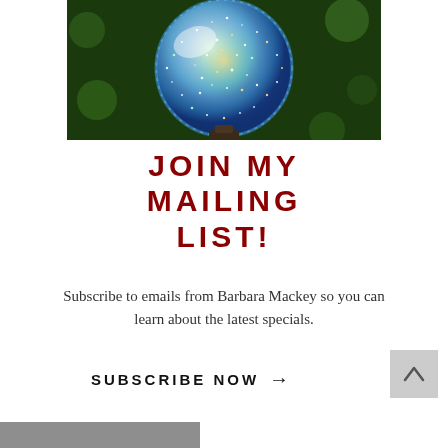[Figure (photo): Close-up photo of a glittery iridescent ornament ball on a dark background with green bokeh]
JOIN MY MAILING LIST!
Subscribe to emails from Barbara Mackey so you can learn about the latest specials.
SUBSCRIBE NOW →
[Figure (photo): Partial photo visible at the bottom of the page]